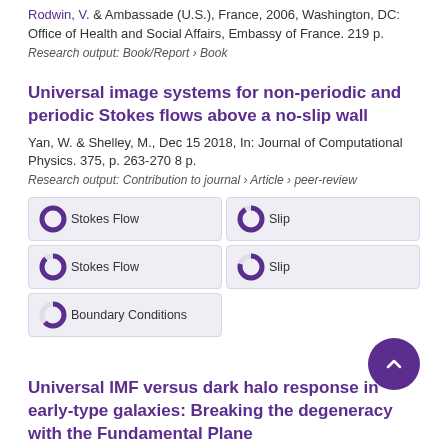Rodwin, V. & Ambassade (U.S.), France, 2006, Washington, DC: Office of Health and Social Affairs, Embassy of France. 219 p.
Research output: Book/Report › Book
Universal image systems for non-periodic and periodic Stokes flows above a no-slip wall
Yan, W. & Shelley, M., Dec 15 2018, In: Journal of Computational Physics. 375, p. 263-270 8 p.
Research output: Contribution to journal › Article › peer-review
Stokes Flow 100%
Slip 91%
Stokes Flow 88%
Slip 79%
Boundary Conditions 63%
Universal IMF versus dark halo response in early-type galaxies: Breaking the degeneracy with the Fundamental Plane
Dutton, A. A., Macciò, A. V., Mendel, J. T. & Simard, L., Jun 2013,